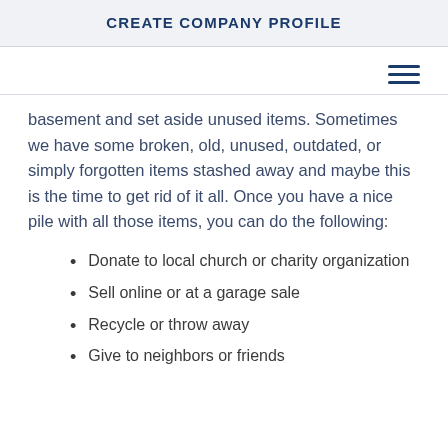CREATE COMPANY PROFILE
basement and set aside unused items. Sometimes we have some broken, old, unused, outdated, or simply forgotten items stashed away and maybe this is the time to get rid of it all. Once you have a nice pile with all those items, you can do the following:
Donate to local church or charity organization
Sell online or at a garage sale
Recycle or throw away
Give to neighbors or friends